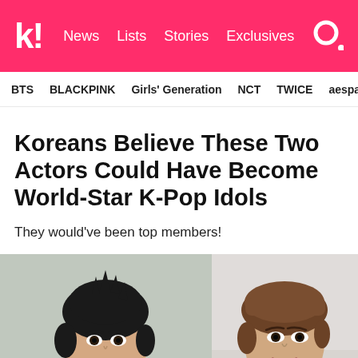k! News Lists Stories Exclusives
BTS  BLACKPINK  Girls' Generation  NCT  TWICE  aespa
Koreans Believe These Two Actors Could Have Become World-Star K-Pop Idols
They would've been top members!
[Figure (photo): Two Korean male actors side by side. Left: young man with dark spiky hair smiling. Right: young man with brown straight hair against a light background.]